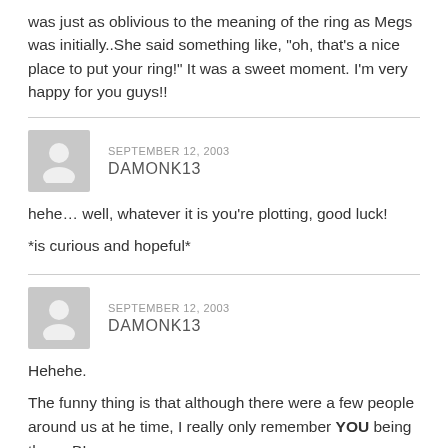was just as oblivious to the meaning of the ring as Megs was initially..She said something like, "oh, that's a nice place to put your ring!" It was a sweet moment. I'm very happy for you guys!!
SEPTEMBER 12, 2003
DAMONK13
hehe… well, whatever it is you're plotting, good luck!

*is curious and hopeful*
SEPTEMBER 12, 2003
DAMONK13
Hehehe.

The funny thing is that although there were a few people around us at he time, I really only remember YOU being there, B!